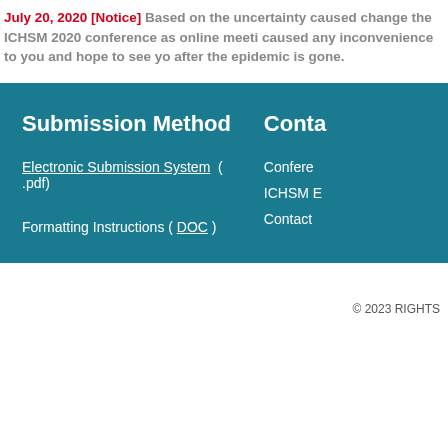July 20, 2020 [Notice] Based on the uncertainty caused change the ICHSM 2020 conference as online meeti caused any inconvenience to you and hope to see yo after the epidemic is gone.
Submission Method
Electronic Submission System  ( .pdf)
Formatting Instructions ( DOC )
Conta
Confere
ICHSM E
Contact
© 2023 RIGHTS